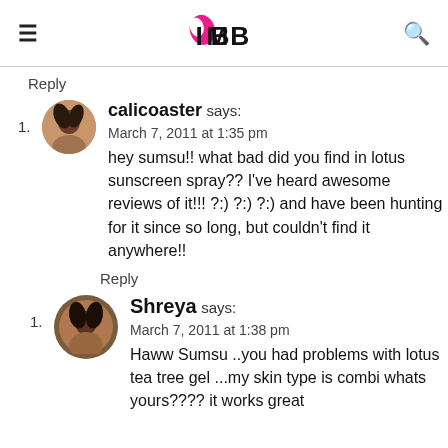IMBB
Reply
calicoaster says:
March 7, 2011 at 1:35 pm
hey sumsu!! what bad did you find in lotus sunscreen spray?? I've heard awesome reviews of it!!! ?:) ?:) ?:) and have been hunting for it since so long, but couldn't find it anywhere!!
Reply
Shreya says:
March 7, 2011 at 1:38 pm
Haww Sumsu ..you had problems with lotus tea tree gel ...my skin type is combi whats yours???? it works great